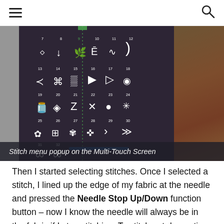≡  [search icon]
[Figure (photo): Sewing machine touchscreen showing a stitch menu popup with numbered decorative stitch icons (numbers 7 through 32) arranged in a grid on a dark background.]
Stitch menu popup on the Multi-Touch Screen
Then I started selecting stitches. Once I selected a stitch, I lined up the edge of my fabric at the needle and pressed the Needle Stop Up/Down function button – now I know the needle will always be in the fabric if I stop stitching. To stitch out decorative stitches, I always let the machine do the work